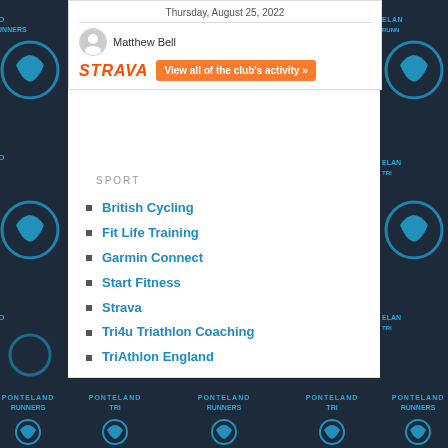Thursday, August 25, 2022
Matthew Bell
[Figure (logo): Strava logo with orange 'View all of the club's activity »' button]
SPORT
British Cycling
Fit Life Training
Garmin Connect
Start Fitness
Strava
Tri4u Triathlon Coaching
TriAthlon England
Tyneside Vagabonds Cycling Club
Proudly powered by WordPress